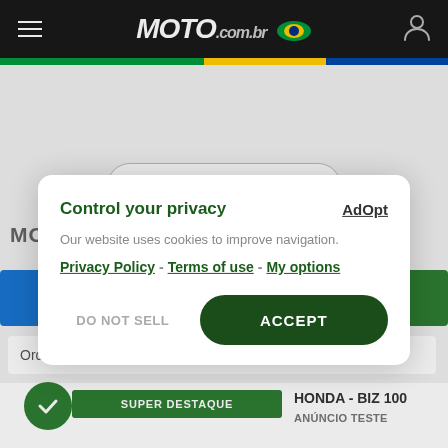MOTO.com.br navigation bar
[Figure (screenshot): Moto.com.br website screenshot showing a Voltar button, partial heading MOTOS HONDA NOVAS E USADAS, and a privacy consent modal overlay with Control your privacy title, AdOpt link, cookie notice, Privacy Policy, Terms of use, My options links, DO NOT SELL and ACCEPT buttons. Bottom shows SUPER DESTAQUE badge and HONDA - BIZ 100 listing with ANÚNCIO TESTE text.]
Control your privacy
Our website uses cookies to improve navigation.
Privacy Policy - Terms of use - My options
DO NOT SELL
ACCEPT
Voltar
MOTOS HONDA NOVAS E USADAS
SUPER DESTAQUE
HONDA - BIZ 100
ANÚNCIO TESTE